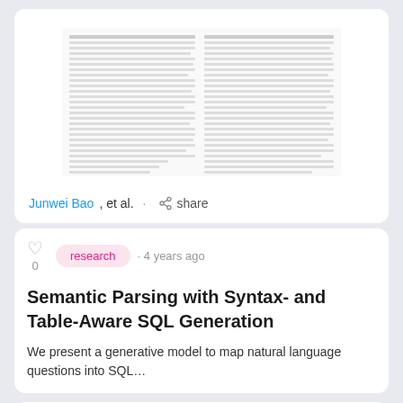[Figure (screenshot): Thumbnail of a two-column academic paper with dense small text, partially visible]
Junwei Bao, et al. · share
research · 4 years ago
Semantic Parsing with Syntax- and Table-Aware SQL Generation
We present a generative model to map natural language questions into SQL...
[Figure (screenshot): Small thumbnail of a paper titled: Semantic Parsing with Syntax- and Table-Aware SQL Generation]